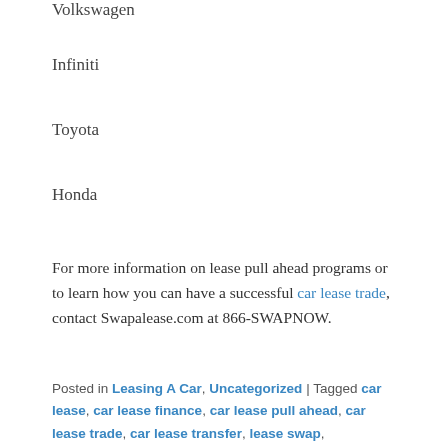Volkswagen
Infiniti
Toyota
Honda
For more information on lease pull ahead programs or to learn how you can have a successful car lease trade, contact Swapalease.com at 866-SWAPNOW.
Posted in Leasing A Car, Uncategorized | Tagged car lease, car lease finance, car lease pull ahead, car lease trade, car lease transfer, lease swap, swapalease
How To Improve Your Credit Score When Car Lease Shopping